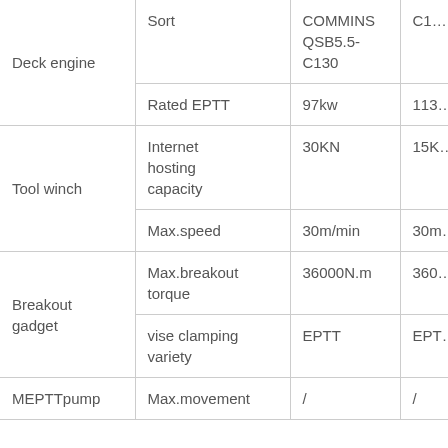| Category | Sort | COMMINS QSB5.5-C130 | C1… |
| --- | --- | --- | --- |
| Deck engine | Sort | COMMINS QSB5.5-C130 | C1… |
| Deck engine | Rated EPTT | 97kw | 113… |
| Tool winch | Internet hosting capacity | 30KN | 15K… |
| Tool winch | Max.speed | 30m/min | 30m… |
| Breakout gadget | Max.breakout torque | 36000N.m | 360… |
| Breakout gadget | vise clamping variety | EPTT | EPT… |
| MEPTTpump | Max.movement | / | / |